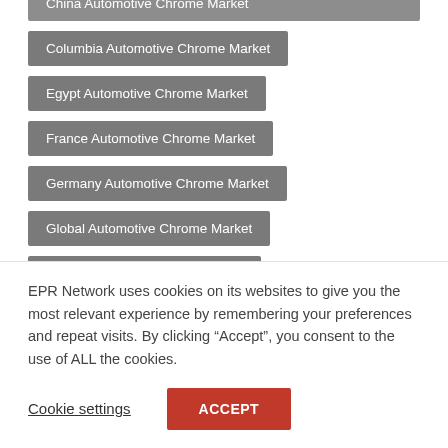China Automotive Chrome Market
Columbia Automotive Chrome Market
Egypt Automotive Chrome Market
France Automotive Chrome Market
Germany Automotive Chrome Market
Global Automotive Chrome Market
India Automotive Chrome Market
Indonesia Automotive Chrome Market
Italy Automotive Chrome Market
EPR Network uses cookies on its websites to give you the most relevant experience by remembering your preferences and repeat visits. By clicking “Accept”, you consent to the use of ALL the cookies.
Cookie settings
ACCEPT